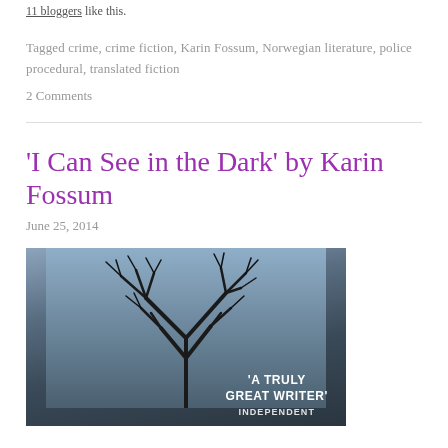11 bloggers like this.
Tagged crime, crime fiction, Karin Fossum, Norwegian literature, police procedural, translated fiction
2 Comments
'I Can See in the Dark' by Karin Fossum
June 25, 2014
[Figure (photo): Book cover photo for 'I Can See in the Dark' by Karin Fossum showing a bare winter tree silhouette against a blue-grey sky with text 'A TRULY GREAT WRITER' overlaid at the bottom right]